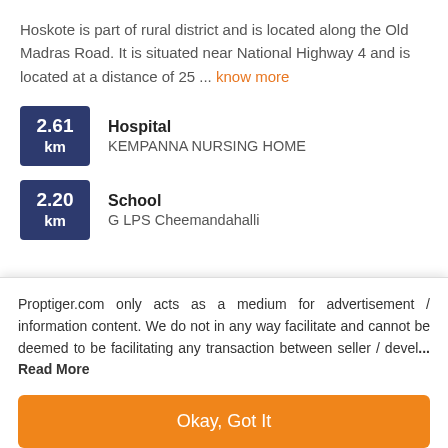Hoskote is part of rural district and is located along the Old Madras Road. It is situated near National Highway 4 and is located at a distance of 25 ... know more
2.61 km | Hospital | KEMPANNA NURSING HOME
2.20 km | School | G LPS Cheemandahalli
FAQs
Proptiger.com only acts as a medium for advertisement / information content. We do not in any way facilitate and cannot be deemed to be facilitating any transaction between seller / devel... Read More
Okay, Got It